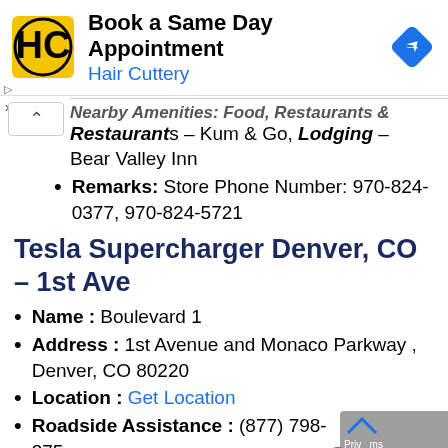[Figure (screenshot): Hair Cuttery advertisement banner with logo, 'Book a Same Day Appointment' text, and navigation icon]
Restaurants – Kum & Go, Lodging – Bear Valley Inn
Remarks: Store Phone Number: 970-824-0377, 970-824-5721
Tesla Supercharger Denver, CO – 1st Ave
Name : Boulevard 1
Address : 1st Avenue and Monaco Parkway , Denver, CO 80220
Location : Get Location
Roadside Assistance : (877) 798-375…